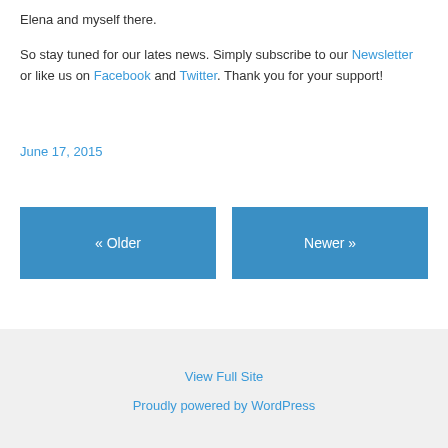Elena and myself there.
So stay tuned for our lates news. Simply subscribe to our Newsletter or like us on Facebook and Twitter. Thank you for your support!
June 17, 2015
« Older
Newer »
View Full Site
Proudly powered by WordPress